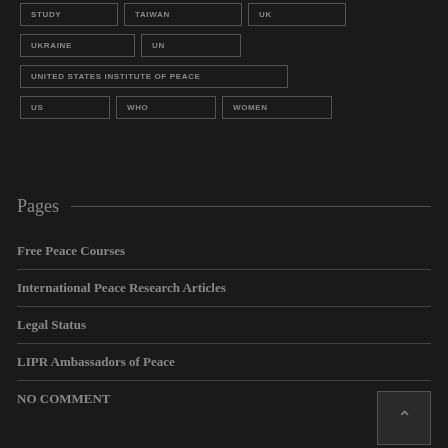STUDY
TAIWAN
UK
UKRAINE
UN
UNITED STATES INSTITUTE OF PEACE
US
WHO
WOMEN
Pages
Free Peace Courses
International Peace Research Articles
Legal Status
LIPR Ambassadors of Peace
NO COMMENT